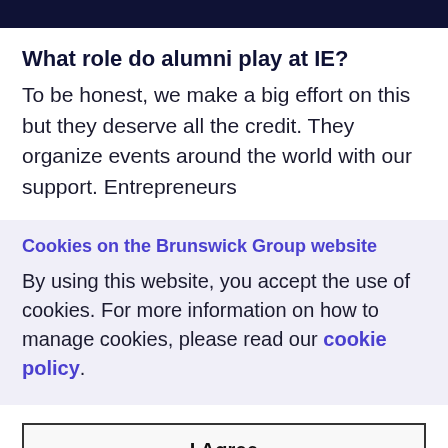What role do alumni play at IE?
To be honest, we make a big effort on this but they deserve all the credit. They organize events around the world with our support. Entrepreneurs
Cookies on the Brunswick Group website
By using this website, you accept the use of cookies. For more information on how to manage cookies, please read our cookie policy.
I Agree